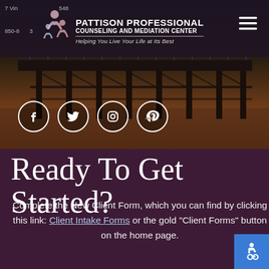[Figure (screenshot): Website screenshot of Pattison Professional Counseling and Mediation Center with pier background photo, header with logo and navigation, social media icons, and purple content section]
7 Vine... | ...548 | 850-8...73 | PATTISON PROFESSIONAL COUNSELING AND MEDIATION CENTER | Helping You Live Your Life at Its Best
Ready To Get Started?
Complete the New Client Form, which you can find by clicking this link: Client Intake Forms or the gold “Client Forms” button on the home page.